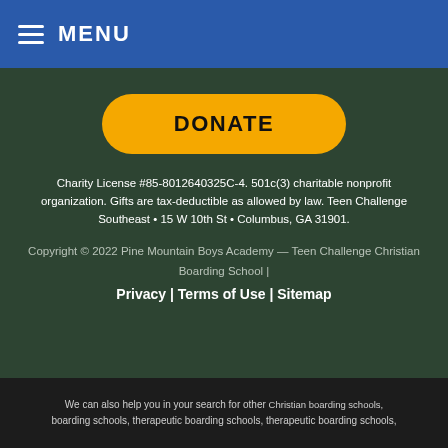≡ MENU
[Figure (other): Yellow rounded DONATE button on dark green background]
Charity License #85-8012640325C-4. 501c(3) charitable nonprofit organization. Gifts are tax-deductible as allowed by law. Teen Challenge Southeast • 15 W 10th St • Columbus, GA 31901.
Copyright © 2022 Pine Mountain Boys Academy — Teen Challenge Christian Boarding School |
Privacy | Terms of Use | Sitemap
We can also help you in your search for other Christian boarding schools, boarding schools, therapeutic boarding schools, therapeutic boarding schools,